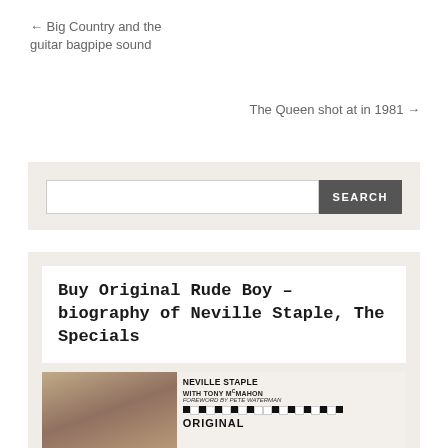← Big Country and the guitar bagpipe sound
The Queen shot at in 1981 →
[Figure (screenshot): Search bar with text input field and dark SEARCH button on a beige/cream background]
Buy Original Rude Boy – biography of Neville Staple, The Specials
[Figure (photo): Book cover of Original Rude Boy by Neville Staple with Tony McMahon, foreword by Pete Waterman, showing a black and white photo of Neville Staple singing, with a checkerboard pattern and the word ORIGINAL at the bottom]